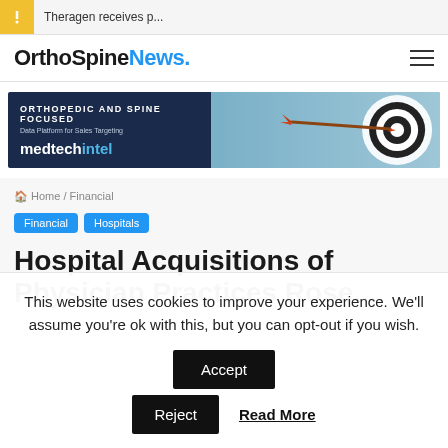Theragen receives p...
OrthoSpineNews.
[Figure (infographic): OrthoSpineNews medtechintel ad banner: orthopedic and spine focused data platform for sales targeting, with dart hitting bullseye target on right side]
Home / Financial
Financial
Hospitals
Hospital Acquisitions of Physician Practices Rose 100%
This website uses cookies to improve your experience. We'll assume you're ok with this, but you can opt-out if you wish.
Accept
Reject
Read More